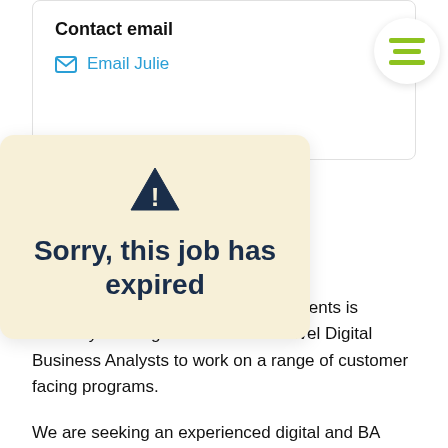Contact email
Email Julie
[Figure (other): Hamburger menu button in a circle with three olive/green horizontal bars]
[Figure (infographic): Warning popup overlay with triangle exclamation icon and text: Sorry, this job has expired]
n one of our key financial services clients is currently seeking Senior and mid-level Digital Business Analysts to work on a range of customer facing programs.
We are seeking an experienced digital and BA expertise to work across the onboarding of new banking products and existing customer offerings. You will have the experience to address business focused activities against a backdrop of a rapidly changing technology landscape.